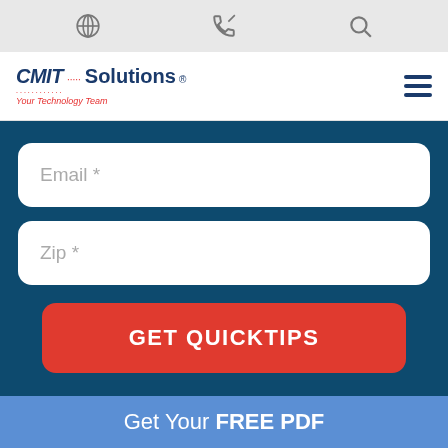[icons: globe, phone, search]
[Figure (logo): CMIT Solutions logo with tagline 'Your Technology Team']
Email *
Zip *
GET QUICKTIPS
Get Your FREE PDF